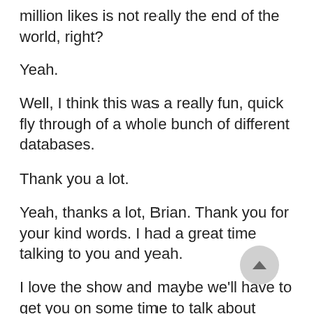million likes is not really the end of the world, right?
Yeah.
Well, I think this was a really fun, quick fly through of a whole bunch of different databases.
Thank you a lot.
Yeah, thanks a lot, Brian. Thank you for your kind words. I had a great time talking to you and yeah.
I love the show and maybe we’ll have to get you on some time to talk about containers because I don’t know about those either.
Okay. Yeah, I would certainly love to. Like I said, nowadays my head is much more in container